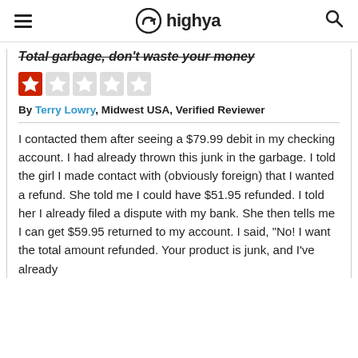highya
Total garbage, don't waste your money
[Figure (other): 1 out of 5 star rating — one red star filled, four grey stars empty]
By Terry Lowry, Midwest USA, Verified Reviewer
I contacted them after seeing a $79.99 debit in my checking account. I had already thrown this junk in the garbage. I told the girl I made contact with (obviously foreign) that I wanted a refund. She told me I could have $51.95 refunded. I told her I already filed a dispute with my bank. She then tells me I can get $59.95 returned to my account. I said, "No! I want the total amount refunded. Your product is junk, and I've already